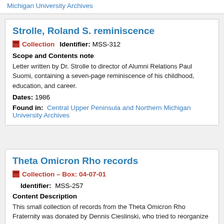Michigan University Archives
Strolle, Roland S. reminiscence
Collection   Identifier: MSS-312
Scope and Contents note
Letter written by Dr. Strolle to director of Alumni Relations Paul Suomi, containing a seven-page reminiscence of his childhood, education, and career.
Dates: 1986
Found in: Central Upper Peninsula and Northern Michigan University Archives
Theta Omicron Rho records
Collection – Box: 04-07-01
Identifier: MSS-257
Content Description
This small collection of records from the Theta Omicron Rho Fraternity was donated by Dennis Cieslinski, who tried to reorganize the fraternity. It